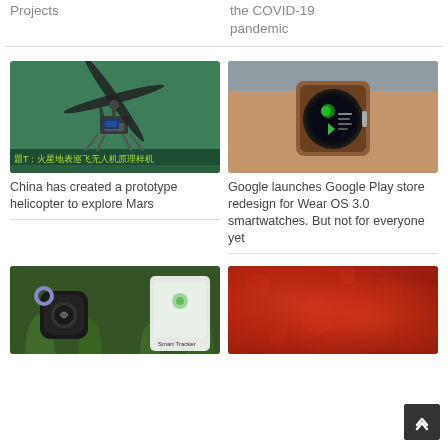Projects
the COVID-19 pandemic
[Figure (photo): Prototype helicopter drone on green surface with Chinese text label]
China has created a prototype helicopter to explore Mars
[Figure (photo): Smartwatch on wrist with Google Play store Wear OS interface]
Google launches Google Play store redesign for Wear OS 3.0 smartwatches. But not for everyone yet
[Figure (photo): Black tile tracker device on grass with phone app]
[Figure (photo): Close-up red/orange textured surface]